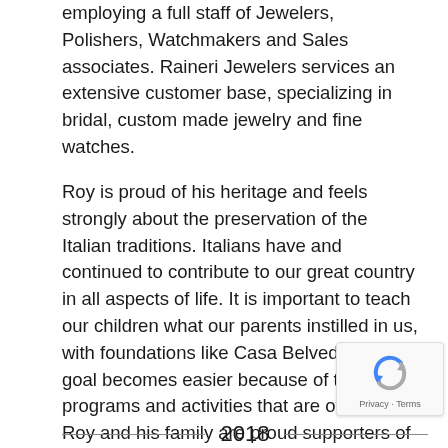employing a full staff of Jewelers, Polishers, Watchmakers and Sales associates. Raineri Jewelers services an extensive customer base, specializing in bridal, custom made jewelry and fine watches.
Roy is proud of his heritage and feels strongly about the preservation of the Italian traditions. Italians have and continued to contribute to our great country in all aspects of life. It is important to teach our children what our parents instilled in us, with foundations like Casa Belvedere the goal becomes easier because of the programs and activities that are offered. Roy and his family are proud supporters of many charities such as: Autism Research, Kids for Kids St. Jude's Children's Research Hospital, Juvenile Diabetes, Duchenne Muscular Dystrophy and a proud member of the Ben-Bay Kiwanis organization.
2018